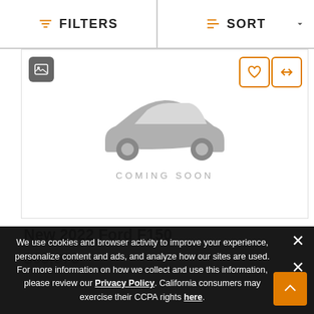FILTERS | SORT
[Figure (illustration): Car listing card showing a gray placeholder car silhouette with 'COMING SOON' text below it, with gallery, heart, and compare icon buttons]
New 2022 Ford F150
$65,975
We use cookies and browser activity to improve your experience, personalize content and ads, and analyze how our sites are used. For more information on how we collect and use this information, please review our Privacy Policy. California consumers may exercise their CCPA rights here.